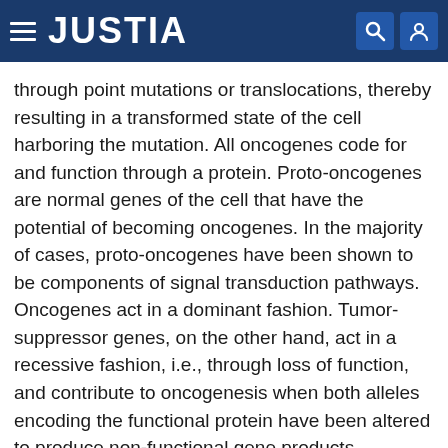JUSTIA
through point mutations or translocations, thereby resulting in a transformed state of the cell harboring the mutation. All oncogenes code for and function through a protein. Proto-oncogenes are normal genes of the cell that have the potential of becoming oncogenes. In the majority of cases, proto-oncogenes have been shown to be components of signal transduction pathways. Oncogenes act in a dominant fashion. Tumor-suppressor genes, on the other hand, act in a recessive fashion, i.e., through loss of function, and contribute to oncogenesis when both alleles encoding the functional protein have been altered to produce non-functional gene products.
The concerted action of a combination of altered oncogenes and tumor-suppressor genes results in cellular transformation and development of a malignant